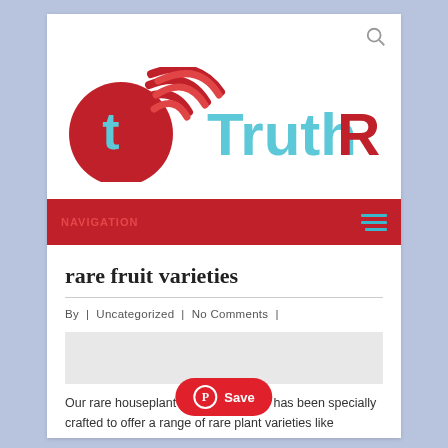[Figure (logo): TruthRss logo — red circle with a white 't' and wifi/RSS signal arcs, next to the text 'TruthRss' in cyan/teal and red]
NAVIGATION
rare fruit varieties
By | Uncategorized | No Comments |
Our rare houseplant collection has been specially crafted to offer a range of rare plant varieties like